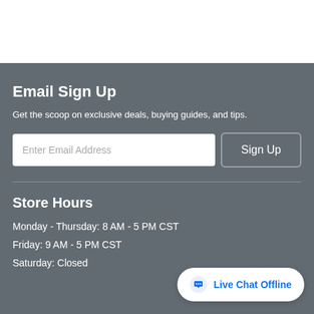Email Sign Up
Get the scoop on exclusive deals, buying guides, and tips.
[Figure (screenshot): Email signup form with text input labeled 'Enter Email Address' and a 'Sign Up' button]
Store Hours
Monday - Thursday: 8 AM - 5 PM CST
Friday: 9 AM - 5 PM CST
Saturday: Closed
Live Chat Offline